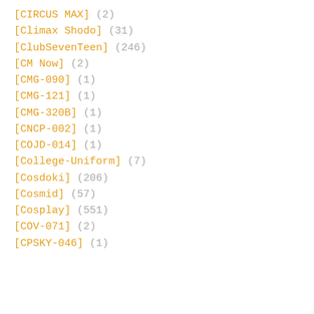[CIRCUS MAX] (2)
[Climax Shodo] (31)
[ClubSevenTeen] (246)
[CM Now] (2)
[CMG-090] (1)
[CMG-121] (1)
[CMG-320B] (1)
[CNCP-002] (1)
[COJD-014] (1)
[College-Uniform] (7)
[Cosdoki] (206)
[Cosmid] (57)
[Cosplay] (551)
[COV-071] (2)
[CPSKY-046] (1)